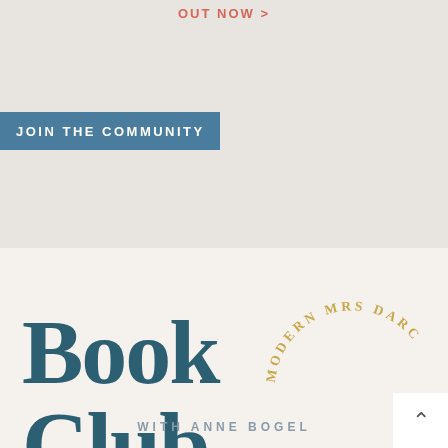OUT NOW >
JOIN THE COMMUNITY
[Figure (logo): Modern Mrs Darcy Book Club logo with circular arc text reading 'MODERN MRS DARC' in gold and large serif text 'Book Club' in dark teal, with 'WITH ANNE BOGEL' below in spaced light teal letters]